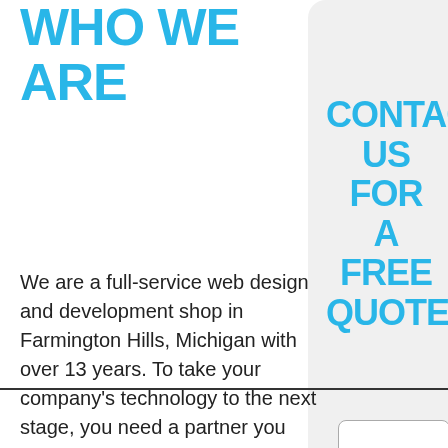WHO WE ARE
CONTACT US FOR A FREE QUOTE
We are a full-service web design and development shop in Farmington Hills, Michigan with over 13 years. To take your company's technology to the next stage, you need a partner you can trust. Reed Dynamic offers website